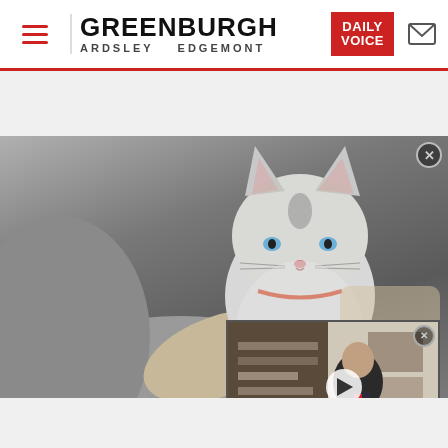GREENBURGH ARDSLEY EDGEMONT | DAILY VOICE
[Figure (photo): Person holding a small gray and white kitten with blue eyes, wearing a red and blue collar. Background shows a veterinary or shelter environment. An embedded video overlay in the bottom right shows a man in a suit with a news ticker reading 'REP. CICILLINE: META DOES ANTICOMPETITIVE BEHAVIOR THEN GOES ON APOLOGY TOUR', with location bar showing 'Providence, R.I.' and a name tag showing 'Rep. David Cicilline D-R RHODE ISLAND'.]